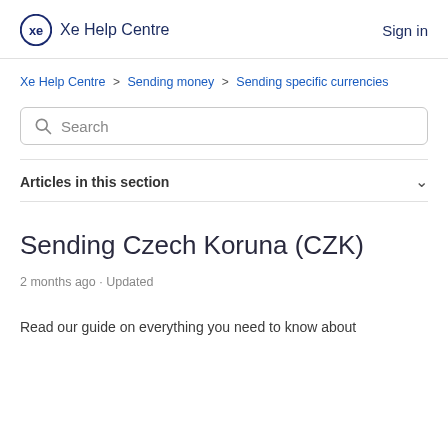Xe Help Centre   Sign in
Xe Help Centre > Sending money > Sending specific currencies
Sending Czech Koruna (CZK)
2 months ago · Updated
Read our guide on everything you need to know about